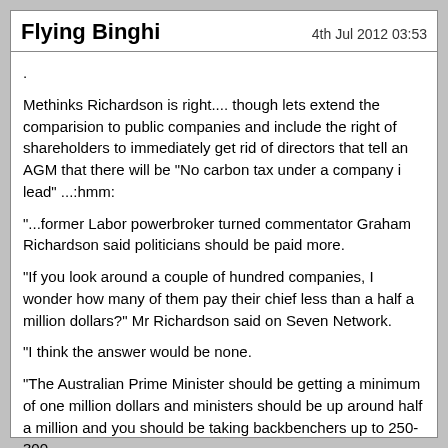Flying Binghi | 4th Jul 2012 03:53
.
Methinks Richardson is right.... though lets extend the comparision to public companies and include the right of shareholders to immediately get rid of directors that tell an AGM that there will be "No carbon tax under a company i lead" ...:hmm:
"...former Labor powerbroker turned commentator Graham Richardson said politicians should be paid more.

"If you look around a couple of hundred companies, I wonder how many of them pay their chief less than a half a million dollars?" Mr Richardson said on Seven Network.

"I think the answer would be none.

"The Australian Prime Minister should be getting a minimum of one million dollars and ministers should be up around half a million and you should be taking backbenchers up to 250-300.

"There are 25-year-old kids walking around in merchant banks these days earning $300,000 a year."..."